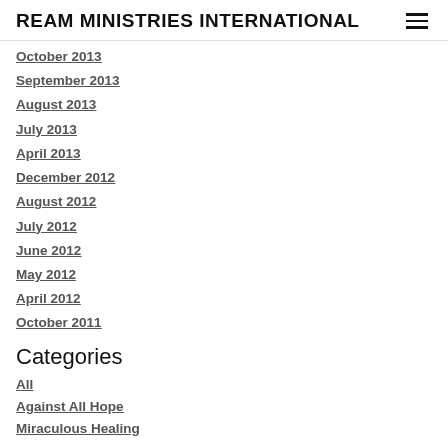REAM MINISTRIES INTERNATIONAL
October 2013
September 2013
August 2013
July 2013
April 2013
December 2012
August 2012
July 2012
June 2012
May 2012
April 2012
October 2011
Categories
All
Against All Hope
Miraculous Healing